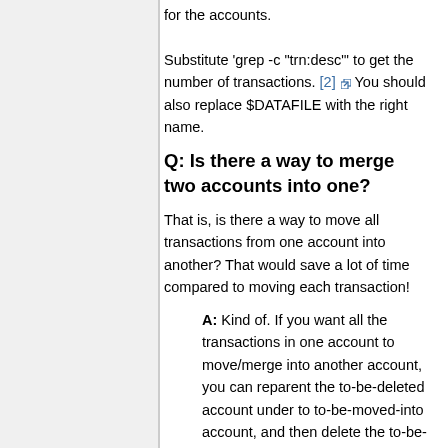for the accounts.

Substitute 'grep -c "trn:desc"' to get the number of transactions. [2] You should also replace $DATAFILE with the right name.
Q: Is there a way to merge two accounts into one?
That is, is there a way to move all transactions from one account into another? That would save a lot of time compared to moving each transaction!
A: Kind of. If you want all the transactions in one account to move/merge into another account, you can reparent the to-be-deleted account under to to-be-moved-into account, and then delete the to-be-deleted-account. GnuCash will ask